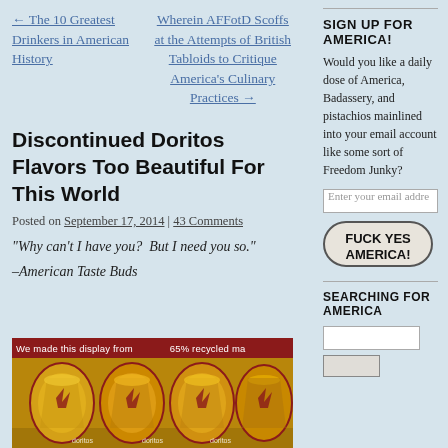← The 10 Greatest Drinkers in American History
Wherein AFFotD Scoffs at the Attempts of British Tabloids to Critique America's Culinary Practices →
Discontinued Doritos Flavors Too Beautiful For This World
Posted on September 17, 2014 | 43 Comments
"Why can't I have you? But I need you so."
–American Taste Buds
[Figure (photo): Photo of discontinued Doritos chip bags with a red banner reading 'We made this display from 65% recycled ma[terials]']
SIGN UP FOR AMERICA!
Would you like a daily dose of America, Badassery, and pistachios mainlined into your email account like some sort of Freedom Junky?
Enter your email addre[ss]
FUCK YES AMERICA!
SEARCHING FOR AMERICA